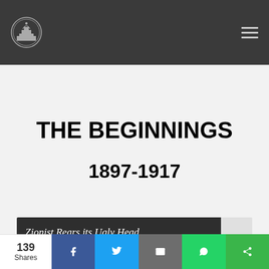THE BEGINNINGS
THE BEGINNINGS
1897-1917
Zionist Rears its Ugly Head
139 Shares | Facebook | Twitter | Email | WhatsApp | Share